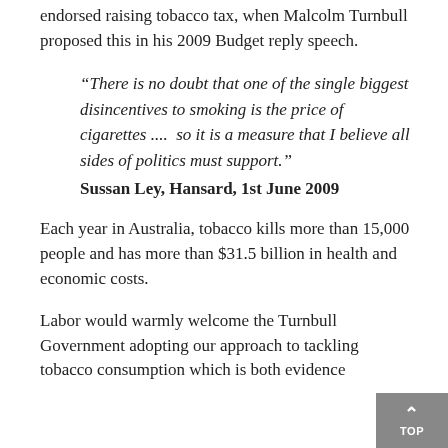endorsed raising tobacco tax, when Malcolm Turnbull proposed this in his 2009 Budget reply speech.
“There is no doubt that one of the single biggest disincentives to smoking is the price of cigarettes ....  so it is a measure that I believe all sides of politics must support.” Sussan Ley, Hansard, 1st June 2009
Each year in Australia, tobacco kills more than 15,000 people and has more than $31.5 billion in health and economic costs.
Labor would warmly welcome the Turnbull Government adopting our approach to tackling tobacco consumption which is both evidence